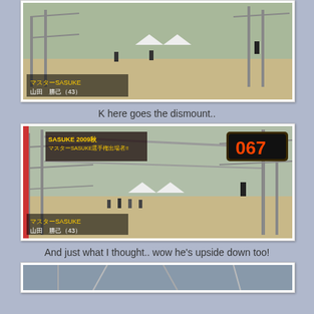[Figure (photo): TV screenshot of SASUKE obstacle course competition, showing wide outdoor scaffolding course with competitors. Japanese text overlay: マスターSASUKE / 山田 勝己 (43)]
K here goes the dismount..
[Figure (photo): TV screenshot of SASUKE 2009 obstacle course, wider angle showing full course with scaffolding structures, spectators. Timer shows 067. Japanese text overlay: SASUKE 2009秋 / マスターSASUKE選手権出場者!! / 山田 勝己 (43)]
And just what I thought.. wow he's upside down too!
[Figure (photo): Partial TV screenshot of SASUKE obstacle course, bottom portion of page only partially visible.]